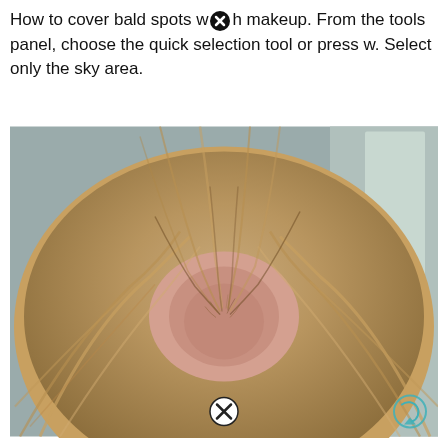How to cover bald spots w[icon] makeup. From the tools panel, choose the quick selection tool or press w. Select only the sky area.
[Figure (photo): Top-down view of a person's head showing thinning hair and bald spot at the crown, with blonde hair. A circular X icon overlaid at the bottom center, and a teal circular arrow icon at bottom right. Background shows a bathroom mirror/shower setting.]